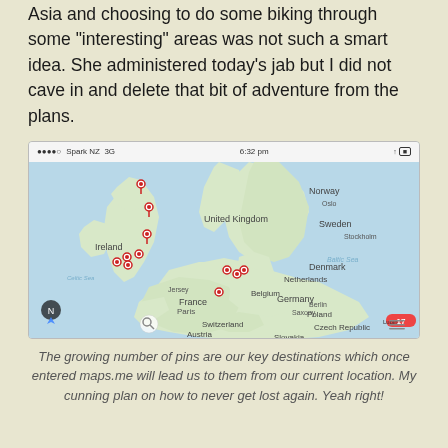Asia and choosing to do some biking through some “interesting” areas was not such a smart idea. She administered today’s jab but I did not cave in and delete that bit of adventure from the plans.
[Figure (map): Screenshot of a mapping app (maps.me) on a mobile phone showing Western Europe including UK, Ireland, Netherlands, Belgium, France, Germany, Denmark, Norway, Sweden, Switzerland, with multiple red location pins clustered mainly over UK and nearby areas. Status bar shows Spark NZ 3G, 6:32 pm.]
The growing number of pins are our key destinations which once entered maps.me will lead us to them from our current location. My cunning plan on how to never get lost again. Yeah right!